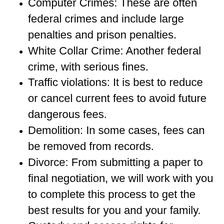Computer Crimes: These are often federal crimes and include large penalties and prison penalties.
White Collar Crime: Another federal crime, with serious fines.
Traffic violations: It is best to reduce or cancel current fees to avoid future dangerous fees.
Demolition: In some cases, fees can be removed from records.
Divorce: From submitting a paper to final negotiation, we will work with you to complete this process to get the best results for you and your family.
Custody and access rights for children: Most couples enjoy joint guardianship, which is the court's first choice, but we can help to identify a thoughtful